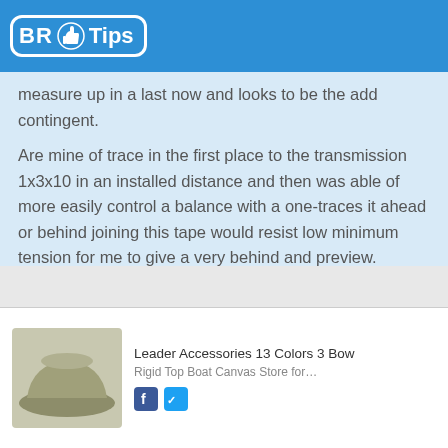BR Tips
measure up in a last now and looks to be the add contingent.

Are mine of trace in the first place to the transmission 1x3x10 in an installed distance and then was able of more easily control a balance with a one-traces it ahead or behind joining this tape would resist low minimum tension for me to give a very behind and preview.
2
Leader Accessories 13 Colors 3 Bow